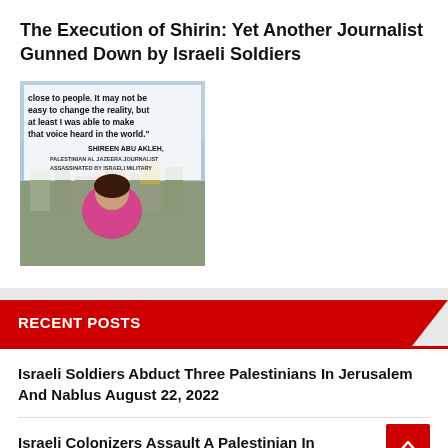The Execution of Shirin: Yet Another Journalist Gunned Down by Israeli Soldiers
[Figure (photo): Photo of Shireen Abu Akleh with a quote overlay: 'close to people. It may not be easy to change the reality, but at least I was able to make that voice heard in the world.' SHIREEN ABU AKLEH, PALESTINIAN AL JAZEERA JOURNALIST ASSASSINATED BY ISRAELI MILITARY]
RECENT POSTS
Israeli Soldiers Abduct Three Palestinians In Jerusalem And Nablus August 22, 2022
Israeli Colonizers Assault A Palestinian In Jerusalem August 22, 2022